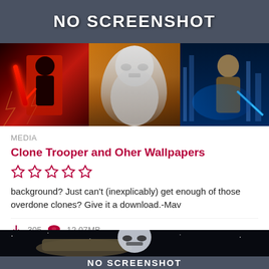[Figure (screenshot): Top banner showing 'NO SCREENSHOT' text overlay on dark semi-transparent bar, above a Star Wars movie collage (dark red Darth Vader with lightsaber on left, stormtrooper on orange background in center, Obi-Wan Kenobi on blue futuristic background on right)]
MEDIA
Clone Trooper and Oher Wallpapers
☆ ☆ ☆ ☆ ☆
background? Just can't (inexplicably) get enough of those overdone clones? Give it a download.-Mav
305   12.07MB
[Figure (screenshot): Bottom partial image showing Star Wars scene (stormtrooper with spaceship) and partial 'NO SCREENSHOT' banner at very bottom]